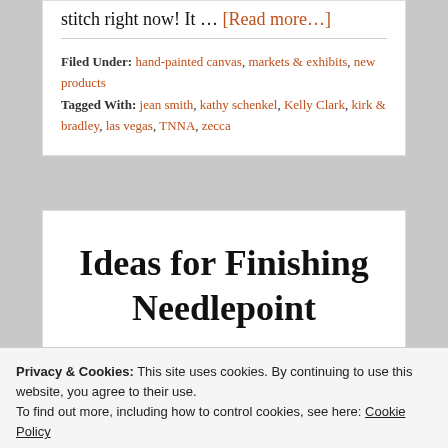stitch right now! It … [Read more…]
Filed Under: hand-painted canvas, markets & exhibits, new products
Tagged With: jean smith, kathy schenkel, Kelly Clark, kirk & bradley, las vegas, TNNA, zecca
Ideas for Finishing Needlepoint
Privacy & Cookies: This site uses cookies. By continuing to use this website, you agree to their use. To find out more, including how to control cookies, see here: Cookie Policy
Close and accept